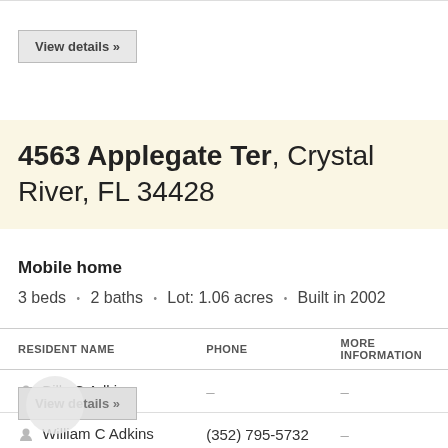View details »
4563 Applegate Ter, Crystal River, FL 34428
Mobile home
3 beds · 2 baths · Lot: 1.06 acres · Built in 2002
| RESIDENT NAME | PHONE | MORE INFORMATION |
| --- | --- | --- |
| Billy C Adkins | – | – |
| William C Adkins | (352) 795-5732 | – |
View details »